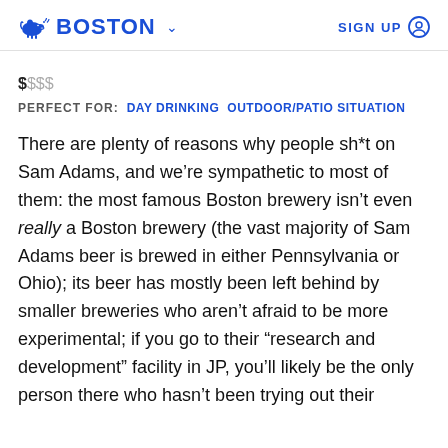BOSTON   SIGN UP
$$$
PERFECT FOR:   DAY DRINKING   OUTDOOR/PATIO SITUATION
There are plenty of reasons why people sh*t on Sam Adams, and we're sympathetic to most of them: the most famous Boston brewery isn't even really a Boston brewery (the vast majority of Sam Adams beer is brewed in either Pennsylvania or Ohio); its beer has mostly been left behind by smaller breweries who aren't afraid to be more experimental; if you go to their “research and development” facility in JP, you’ll likely be the only person there who hasn’t been trying out their